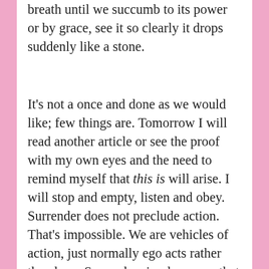breath until we succumb to its power or by grace, see it so clearly it drops suddenly like a stone.
It's not a once and done as we would like; few things are. Tomorrow I will read another article or see the proof with my own eyes and the need to remind myself that this is will arise. I will stop and empty, listen and obey. Surrender does not preclude action. That's impossible. We are vehicles of action, just normally ego acts rather than love. Surrender simply means that I will no longer be informed by fear, act from fear and unconsciously create more fear. Unencumbered by the hidden dread, I am free to listen to the still small voice within and act from love, as love. As long as I have not met my